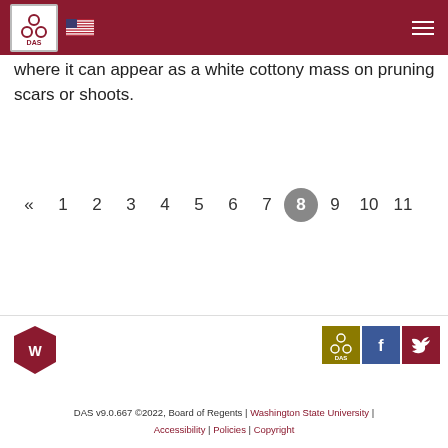DAS header navigation bar
where it can appear as a white cottony mass on pruning scars or shoots.
Pagination: « 1 2 3 4 5 6 7 8 9 10 11
DAS v9.0.667 ©2022, Board of Regents | Washington State University | Accessibility | Policies | Copyright